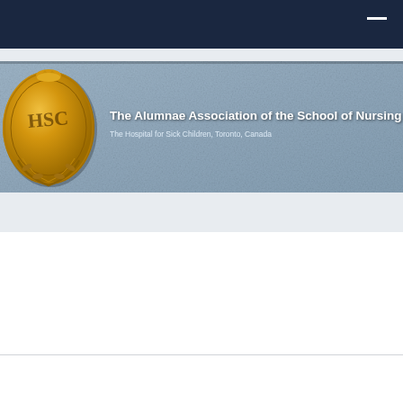[Figure (illustration): Banner for The Alumnae Association of the School of Nursing, The Hospital for Sick Children, Toronto, Canada. Features a gold medallion/badge on the left and white text on a steel-blue textured background.]
The Alumnae Association of the School of Nursing
The Hospital for Sick Children, Toronto, Canada